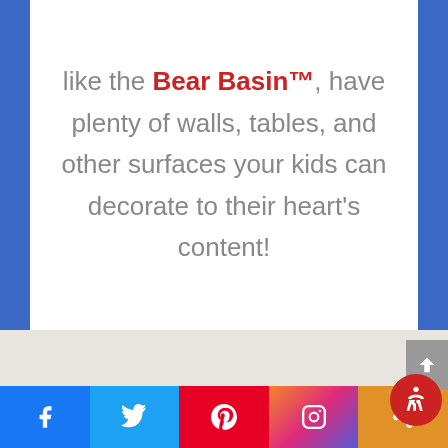like the Bear Basin™, have plenty of walls, tables, and other surfaces your kids can decorate to their heart's content!
PLAY CAPTURE THE FLAG